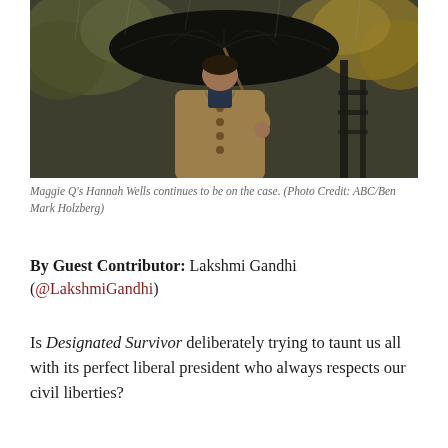[Figure (photo): A person in a tan trench coat holding a black umbrella, standing outdoors in autumn/rainy weather with trees and a dark fence in the background.]
Maggie Q's Hannah Wells continues to be on the case. (Photo Credit: ABC/Ben Mark Holzberg)
By Guest Contributor: Lakshmi Gandhi (@LakshmiGandhi)
Is Designated Survivor deliberately trying to taunt us all with its perfect liberal president who always respects our civil liberties?